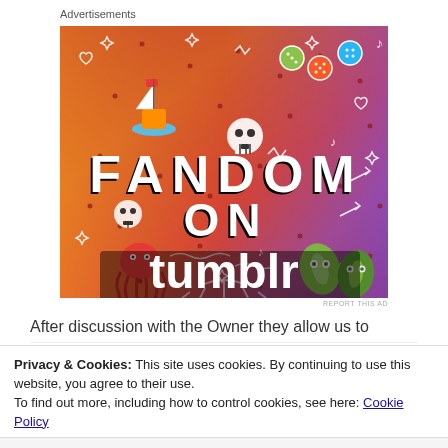Advertisements
[Figure (illustration): Tumblr 'Fandom on tumblr' advertisement banner with colorful gradient background (orange to purple), featuring hand-drawn doodles of skulls, hearts, stars, arrows, a sailboat sticker, octopus sticker, leaf stickers, dice stickers, music notes, and the text 'FANDOM ON tumblr' in bold black and white letters.]
REPORT THIS AD
After discussion with the Owner they allow us to
Privacy & Cookies: This site uses cookies. By continuing to use this website, you agree to their use.
To find out more, including how to control cookies, see here: Cookie Policy
Close and accept